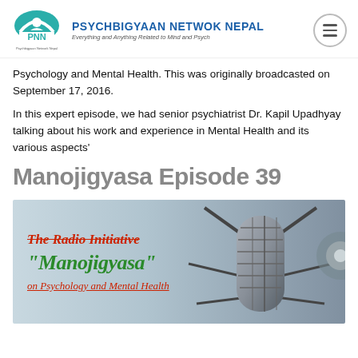PSYCHBIGYAAN NETWOK NEPAL — Everything and Anything Related to Mind and Psych
Psychology and Mental Health. This was originally broadcasted on September 17, 2016.
In this expert episode, we had senior psychiatrist Dr. Kapil Upadhyay talking about his work and experience in Mental Health and its various aspects'
Manojigyasa Episode 39
[Figure (photo): Radio microphone image with overlaid text reading: 'The Radio Initiative', '"Manojigyasa"', 'on Psychology and Mental Health'. The text appears in red italic and green italic styles over a close-up photo of a studio condenser microphone.]